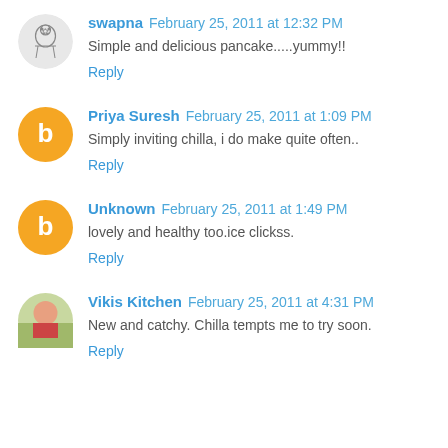swapna February 25, 2011 at 12:32 PM
Simple and delicious pancake.....yummy!!
Reply
Priya Suresh February 25, 2011 at 1:09 PM
Simply inviting chilla, i do make quite often..
Reply
Unknown February 25, 2011 at 1:49 PM
lovely and healthy too.ice clickss.
Reply
Vikis Kitchen February 25, 2011 at 4:31 PM
New and catchy. Chilla tempts me to try soon.
Reply